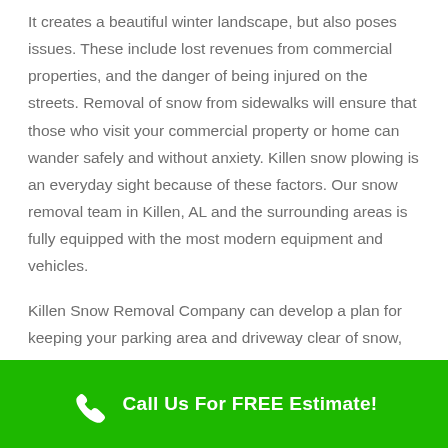It creates a beautiful winter landscape, but also poses issues. These include lost revenues from commercial properties, and the danger of being injured on the streets. Removal of snow from sidewalks will ensure that those who visit your commercial property or home can wander safely and without anxiety. Killen snow plowing is an everyday sight because of these factors. Our snow removal team in Killen, AL and the surrounding areas is fully equipped with the most modern equipment and vehicles.
Killen Snow Removal Company can develop a plan for keeping your parking area and driveway clear of snow, as well as to maintain it clean all day long if required. We have smaller equipment to clean your home's sidewalks and driveways, as well as more powerful equipment for commercial spaces. We are extremely fast and reliable and unlike some other businesses, we will not be a mystery to you about when we are going to
Call Us For FREE Estimate!